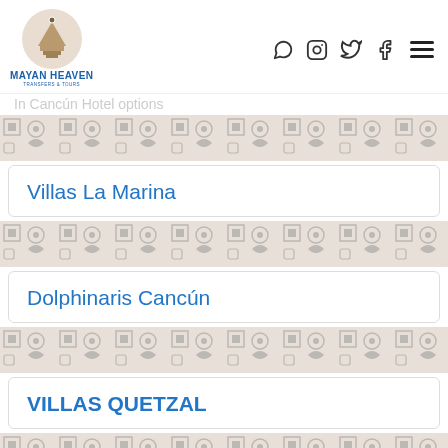Mayan Heaven Transfers & Tours — logo and social icons
Villas La Marina
Dolphinaris Cancún
VILLAS QUETZAL
Hilton Garden Inn Cancun Airport